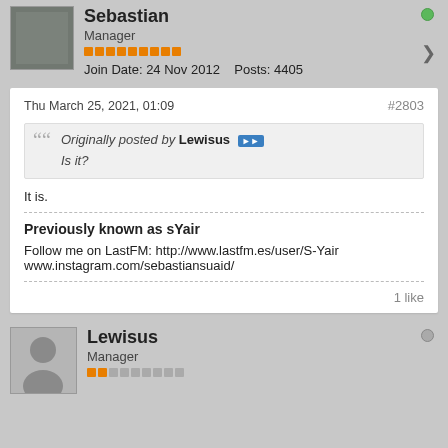Sebastian
Manager
Join Date: 24 Nov 2012    Posts: 4405
Thu March 25, 2021, 01:09
#2803
Originally posted by Lewisus
Is it?
It is.
Previously known as sYair
Follow me on LastFM: http://www.lastfm.es/user/S-Yair
www.instagram.com/sebastiansuaid/
1 like
Lewisus
Manager